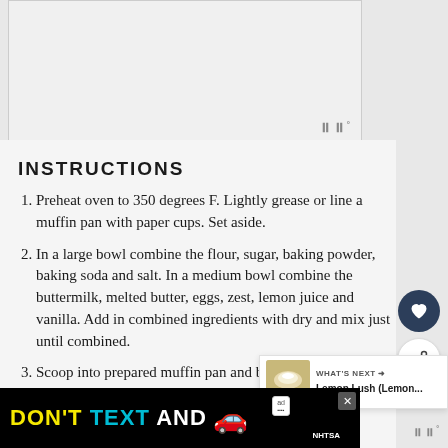[Figure (photo): Recipe image placeholder area at top of page]
INSTRUCTIONS
Preheat oven to 350 degrees F. Lightly grease or line a muffin pan with paper cups. Set aside.
In a large bowl combine the flour, sugar, baking powder, baking soda and salt. In a medium bowl combine the buttermilk, melted butter, eggs, zest, lemon juice and vanilla. Add in combined ingredients with dry and mix just until combined.
Scoop into prepared muffin pan and bake for 15-
[Figure (photo): Lemon Lush dessert image in What's Next widget]
[Figure (screenshot): Advertisement bar: DON'T TEXT AND [car emoji] with NHTSA branding]